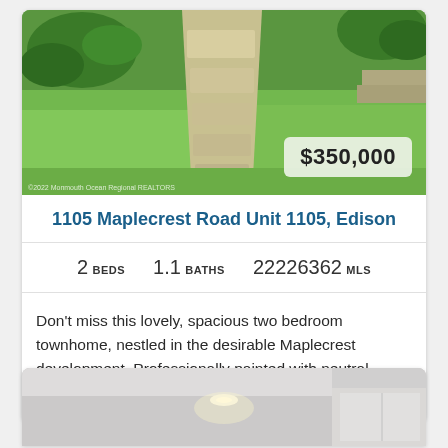[Figure (photo): Exterior photo of a townhome with green lawn, concrete walkway, and shrubs. Price badge showing $350,000 overlaid in lower right. Photo credit watermark in lower left.]
1105 Maplecrest Road Unit 1105, Edison
2 BEDS   1.1 BATHS   22226362 MLS
Don't miss this lovely, spacious two bedroom townhome, nestled in the desirable Maplecrest development. Professionally painted with neutral flooring makes this home a fr...
[Figure (photo): Interior photo of a room with white walls, recessed lighting, and white cabinetry partially visible.]